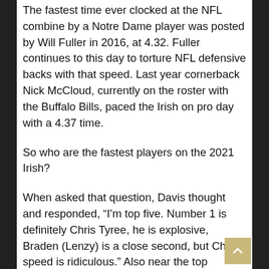The fastest time ever clocked at the NFL combine by a Notre Dame player was posted by Will Fuller in 2016, at 4.32. Fuller continues to this day to torture NFL defensive backs with that speed. Last year cornerback Nick McCloud, currently on the roster with the Buffalo Bills, paced the Irish on pro day with a 4.37 time.
So who are the fastest players on the 2021 Irish?
When asked that question, Davis thought and responded, “I’m top five. Number 1 is definitely Chris Tyree, he is explosive, Braden (Lenzy) is a close second, but Chris’s speed is ridiculous.” Also near the top according to Davis, “Kevin (Austin) is really fast and (Lawrence) Keys is